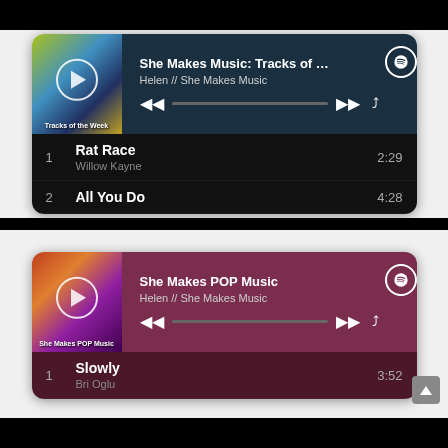[Figure (screenshot): Spotify-style music player widget for playlist 'She Makes Music: Tracks of the ...' by Helen // She Makes Music, showing track list: 1. Rat Race - Willow Kayne (2:29), 2. All You Do (4:28)]
[Figure (screenshot): Spotify-style music player widget for playlist 'She Makes POP Music' by Helen // She Makes Music, showing track list: 1. Slowly - Bri Oglu (3:52)]